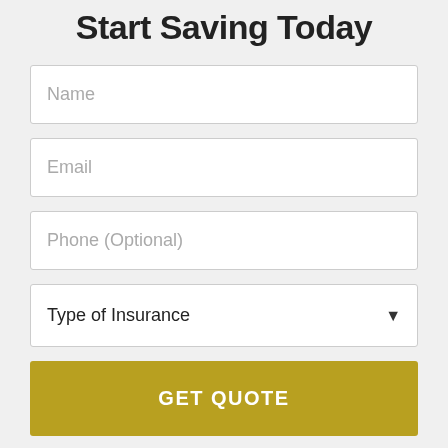Start Saving Today
Name
Email
Phone (Optional)
Type of Insurance
GET QUOTE